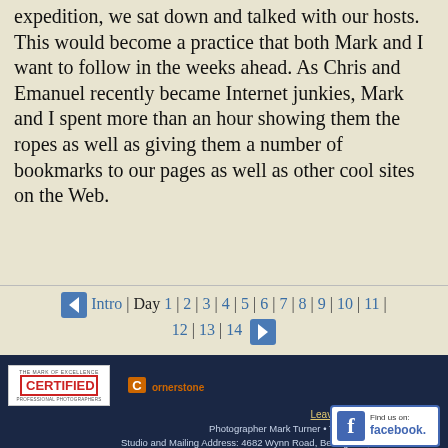expedition, we sat down and talked with our hosts. This would become a practice that both Mark and I want to follow in the weeks ahead. As Chris and Emanuel recently became Internet junkies, Mark and I spent more than an hour showing them the ropes as well as giving them a number of bookmarks to our pages as well as other cool sites on the Web.
← Intro | Day 1 | 2 | 3 | 4 | 5 | 6 | 7 | 8 | 9 | 10 | 11 | 12 | 13 | 14 →
[Figure (logo): Certified Professional Photographers badge]
[Figure (logo): Cornerstone logo]
[Figure (logo): Find us on Facebook badge]
Leave us a review on Google
Photographer Mark Turner • Turner Photographics LLC
Studio and Mailing Address: 4682 Wynn Road, Bellingham, WA 98226-8328
360-671-6851 • mark@turnerphotographics.com
All images © 1993-2022 Mark Turner • Site updated June 8, 2022